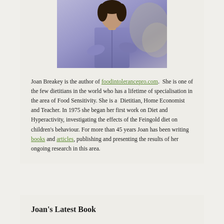[Figure (photo): Photo of Joan Breakey, a woman wearing a purple/blue top, photographed outdoors with foliage in the background.]
Joan Breakey is the author of foodintolerancepro.com.  She is one of the few dietitians in the world who has a lifetime of specialisation in the area of Food Sensitivity. She is a  Dietitian, Home Economist and Teacher. In 1975 she began her first work on Diet and Hyperactivity, investigating the effects of the Feingold diet on children's behaviour. For more than 45 years Joan has been writing books and articles, publishing and presenting the results of her ongoing research in this area.
Joan's Latest Book